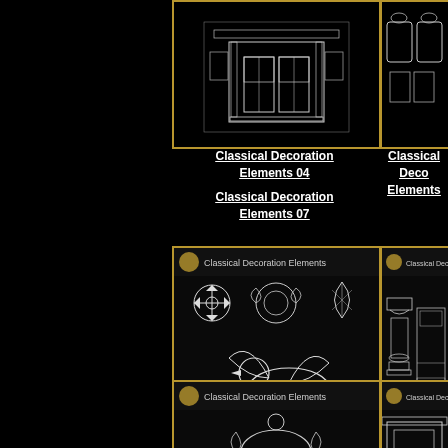[Figure (illustration): Classical Decoration Elements 04 - architectural facade with door elements in white line art on black background]
Classical Decoration Elements 04
[Figure (illustration): Classical Decoration Elements (partially visible) - mirrors and frames in white line art on black background]
Classical Deco Elements
[Figure (illustration): Classical Decoration Elements 07 - decorative medallions, griffin/winged lion, ornamental elements in white line art on black background]
Classical Decoration Elements 07
[Figure (illustration): Classical Decoration Elements (partially visible) - column capitals and architectural column elements in white line art on black background]
Classical Deco Elements
[Figure (illustration): Classical Decoration Elements - ornate scrollwork, cartouches, decorative borders and face mask motif in white line art on black background]
[Figure (illustration): Classical Decoration Elements (partially visible) - fireplace and architectural elements in white line art on black background]